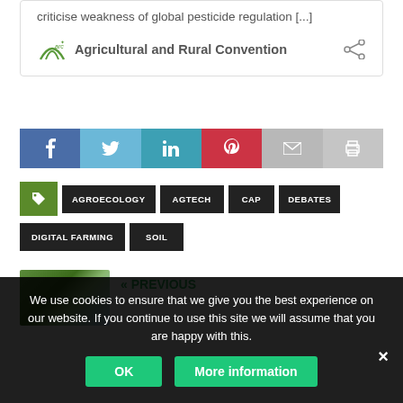criticise weakness of global pesticide regulation [...]
Agricultural and Rural Convention
[Figure (infographic): Social share bar with icons for Facebook, Twitter, LinkedIn, Pinterest, Email, and Print]
AGROECOLOGY
AGTECH
CAP
DEBATES
DIGITAL FARMING
SOIL
« PREVIOUS
We use cookies to ensure that we give you the best experience on our website. If you continue to use this site we will assume that you are happy with this.